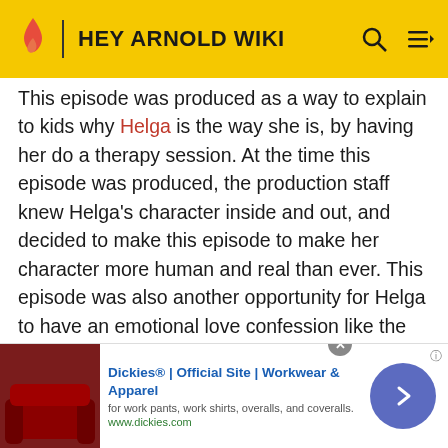HEY ARNOLD WIKI
This episode was produced as a way to explain to kids why Helga is the way she is, by having her do a therapy session. At the time this episode was produced, the production staff knew Helga's character inside and out, and decided to make this episode to make her character more human and real than ever. This episode was also another opportunity for Helga to have an emotional love confession like the one in "School Play", before the face-to-face confession with Arnold in the movie.[1]
Reception
[Figure (other): Advertisement banner for Dickies Official Site - Workwear & Apparel. Shows a dark red couch image on left, ad text in center, and a blue circular arrow button on right.]